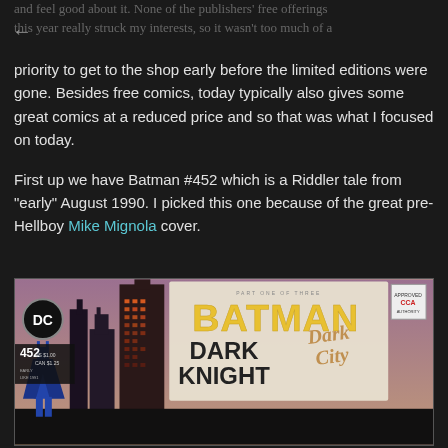and feel good about it. None of the publishers' free offerings this year really struck my interests, so it wasn't too much of a priority to get to the shop early before the limited editions were gone. Besides free comics, today typically also gives some great comics at a reduced price and so that was what I focused on today.
First up we have Batman #452 which is a Riddler tale from "early" August 1990. I picked this one because of the great pre-Hellboy Mike Mignola cover.
[Figure (photo): Batman #452 comic book cover showing the DC logo, Batman figure, Gotham City skyline, and the title 'Batman Dark Knight Dark City' with 'Part One of Three' subtitle. Price listed as US $1.00, CAN $1.25.]